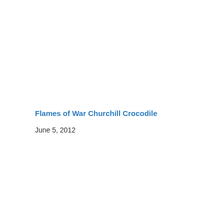Flames of War Churchill Crocodile
June 5, 2012